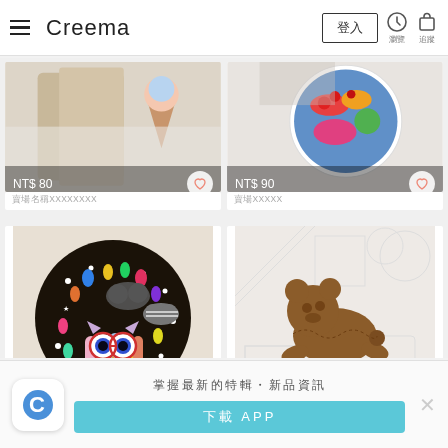Creema 登入
[Figure (photo): Partial product image top-left showing fabric/ice cream cone items, price NT$ 80]
[Figure (photo): Partial product image top-right showing colorful round plate/coaster, price NT$ 90]
賣場名稱A
賣場名B
[Figure (photo): Dark round tin/compact with colorful owl design and colorful drops pattern, price NT$ 150]
[Figure (photo): Flat brown bear stuffed animal/keychain on light background, price NT$ 320]
[Figure (screenshot): Bottom app download banner with Creema C logo icon, tagline 掌握最新的特輯・新品資訊, blue download APP button]